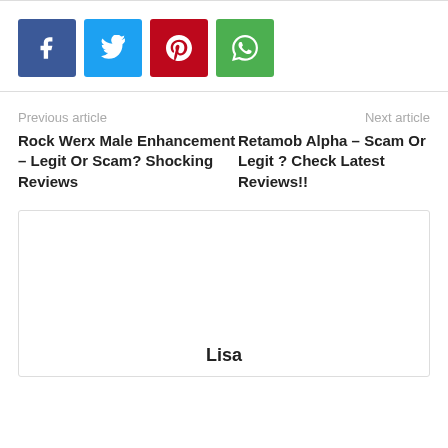[Figure (other): Social share buttons: Facebook (blue), Twitter (light blue), Pinterest (red), WhatsApp (green)]
Previous article
Next article
Rock Werx Male Enhancement – Legit Or Scam? Shocking Reviews
Retamob Alpha – Scam Or Legit ? Check Latest Reviews!!
Lisa